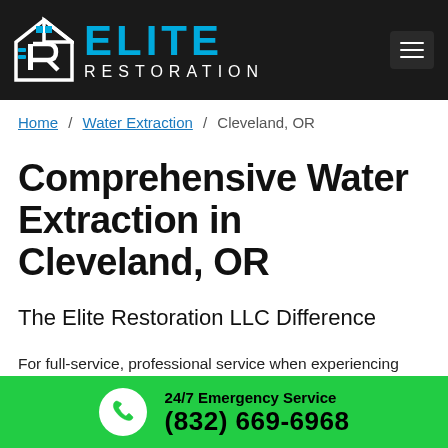[Figure (logo): Elite Restoration LLC logo with house/R icon in white and blue on dark background header bar]
Home / Water Extraction / Cleveland, OR
Comprehensive Water Extraction in Cleveland, OR
The Elite Restoration LLC Difference
For full-service, professional service when experiencing water damage, count on your neighbors at Elite Restoration LLC
24/7 Emergency Service (832) 669-6968